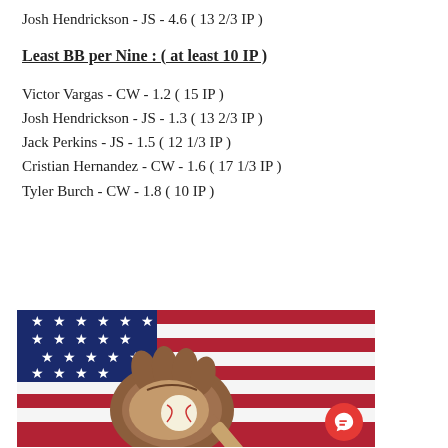Josh Hendrickson - JS - 4.6 ( 13 2/3 IP )
Least BB per Nine : ( at least 10 IP )
Victor Vargas - CW - 1.2 ( 15 IP )
Josh Hendrickson - JS - 1.3 ( 13 2/3 IP )
Jack Perkins - JS - 1.5 ( 12 1/3 IP )
Cristian Hernandez - CW - 1.6  ( 17 1/3 IP )
Tyler Burch - CW - 1.8 ( 10 IP )
[Figure (photo): Baseball glove with ball and bat on an American flag background]